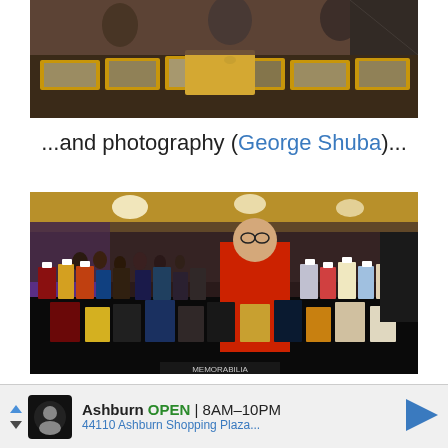[Figure (photo): Overhead view of a vendor table at a memorabilia show with boxes of photographs, books, and collectibles spread across the table. People visible in the background.]
...and photography (George Shuba)...
[Figure (photo): A man in a red shirt standing behind a vendor table at a convention, with numerous books and DVDs displayed upright on a black tablecloth. A large crowd and decorated hall visible in the background.]
Ashburn OPEN 8AM–10PM 44110 Ashburn Shopping Plaza...